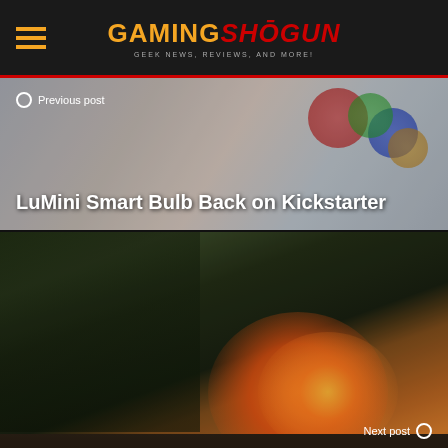GAMING SHOGUN — GEEK NEWS, REVIEWS, AND MORE!
[Figure (screenshot): Previous post navigation image for 'LuMini Smart Bulb Back on Kickstarter' showing colorful product images]
Previous post
LuMini Smart Bulb Back on Kickstarter
[Figure (screenshot): Next post navigation image for 'This War of Mine Announced' showing dark action game scene with combat and explosions]
Next post
This War of Mine Announced
Related Articles